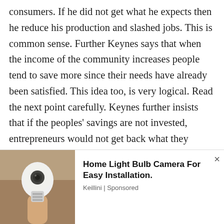consumers. If he did not get what he expects then he reduce his production and slashed jobs. This is common sense. Further Keynes says that when the income of the community increases people tend to save more since their needs have already been satisfied. This idea too, is very logical. Read the next point carefully. Keynes further insists that if the peoples' savings are not invested, entrepreneurs would not get back what they expect from consumers. If this happens what the entrepreneurs would do? – They slash jobs. Even if savings are invested it also must be done subject to one condition. That
[Figure (photo): Advertisement banner showing a smart light bulb camera. Left side has a photo of a hand holding a white light bulb camera device against a wooden background. Right side shows ad text: 'Home Light Bulb Camera For Easy Installation.' by Keillini (Sponsored). A close/dismiss X button is in the top right.]